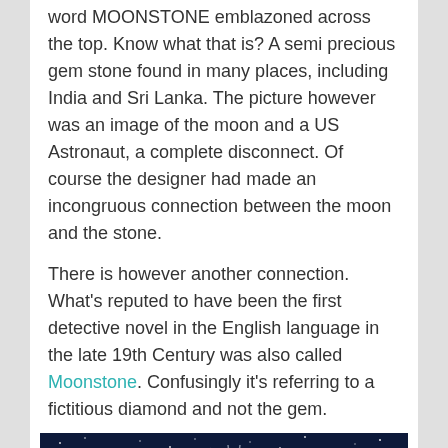word MOONSTONE emblazoned across the top. Know what that is? A semi precious gem stone found in many places, including India and Sri Lanka. The picture however was an image of the moon and a US Astronaut, a complete disconnect. Of course the designer had made an incongruous connection between the moon and the stone.
There is however another connection. What's reputed to have been the first detective novel in the English language in the late 19th Century was also called Moonstone. Confusingly it's referring to a fictitious diamond and not the gem.
[Figure (illustration): Night sky scene with a geometric golden diamond/gem shape at the bottom center, with radiating lines like rays of light, set against a dark navy starry background with scattered white dots representing stars.]